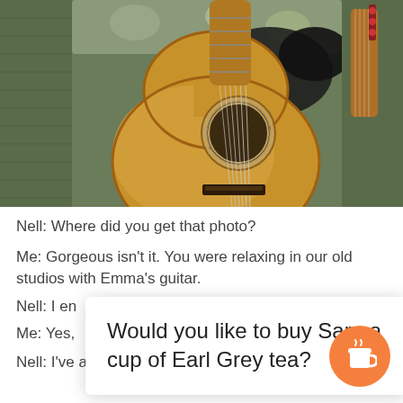[Figure (photo): Photo of an acoustic guitar with decorative soundhole rosette lying on a chair with floral cushions and green wicker armrests. A black cat or dark object is visible behind the guitar near the headstock.]
Nell: Where did you get that photo?
Me: Gorgeous isn't it. You were relaxing in our old studios with Emma's guitar.
Nell: I en
Me: Yes,                                                    rite
Would you like to buy Sara a cup of Earl Grey tea?
Nell: I've always enjoyed Coldplay.